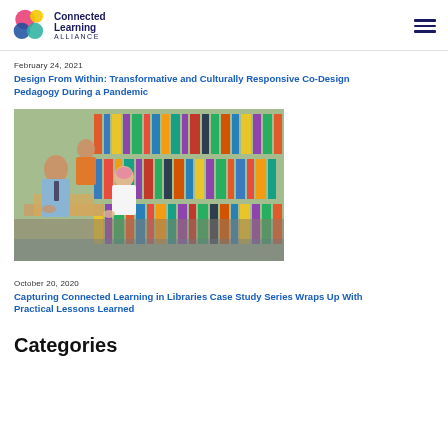Connected Learning Alliance
February 24, 2021
Design From Within: Transformative and Culturally Responsive Co-Design Pedagogy During a Pandemic
[Figure (photo): A teacher and two children working together on a cardboard construction project in a library setting with colorful bookshelves in the background.]
October 20, 2020
Capturing Connected Learning in Libraries Case Study Series Wraps Up With Practical Lessons Learned
Categories